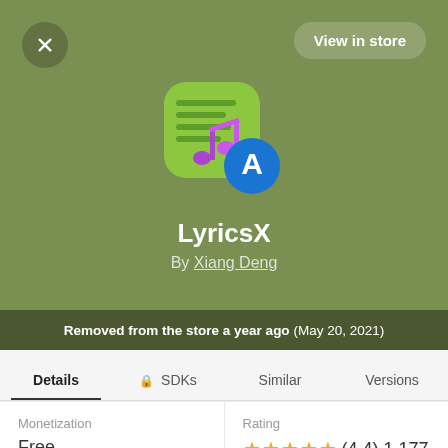[Figure (screenshot): App store listing screenshot for LyricsX app showing green app icon with musical note, close button, View in store button, app name, author name, removed from store notice, and details tabs]
LyricsX
By Xiang Deng
Removed from the store a year ago (May 20, 2021)
Details  SDKs  Similar  Versions
| Monetization | Rating |
| --- | --- |
| Free | ★★★★★ (4.4) 1,177 |